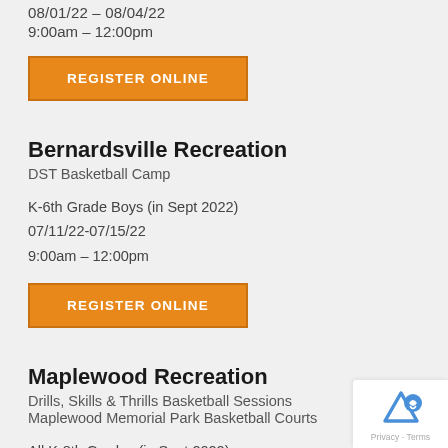08/01/22 – 08/04/22
9:00am – 12:00pm
REGISTER ONLINE
Bernardsville Recreation
DST Basketball Camp
K-6th Grade Boys (in Sept 2022)
07/11/22-07/15/22
9:00am – 12:00pm
REGISTER ONLINE
Maplewood Recreation
Drills, Skills & Thrills Basketball Sessions
Maplewood Memorial Park Basketball Courts
All K-8th Grades (in Sept 2022)
Session 1: 7/11/22 – 7/14/22
Session 2: 7/18/22 – 7/21/22